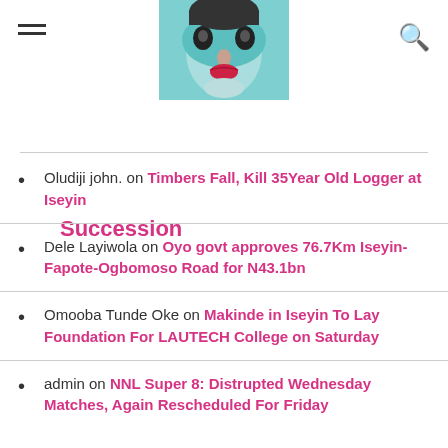[Figure (photo): Website header logo showing a face with theatrical makeup (teal/blue mask-like face paint with red lips), partially cropped at top]
Succession
Oludiji john. on Timbers Fall, Kill 35Year Old Logger at Iseyin
Dele Layiwola on Oyo govt approves 76.7Km Iseyin-Fapote-Ogbomoso Road for N43.1bn
Omooba Tunde Oke on Makinde in Iseyin To Lay Foundation For LAUTECH College on Saturday
admin on NNL Super 8: Distrupted Wednesday Matches, Again Rescheduled For Friday